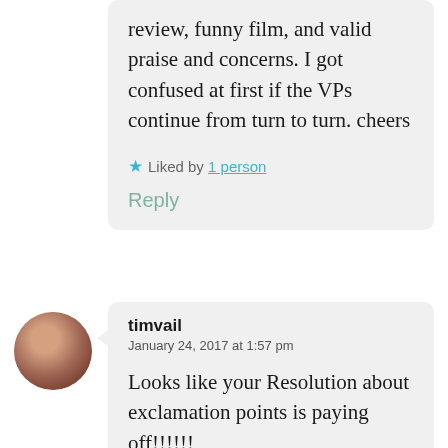review, funny film, and valid praise and concerns. I got confused at first if the VPs continue from turn to turn. cheers
★ Liked by 1 person
Reply
[Figure (photo): Circular avatar photo of a person]
timvail
January 24, 2017 at 1:57 pm
Looks like your Resolution about exclamation points is paying off!!!!!!
My only concern with the game